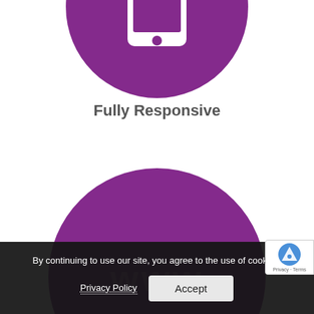[Figure (illustration): Purple circle with white smartphone/mobile device icon in the center, partially cropped at the top of the page]
Fully Responsive
[Figure (illustration): Purple circle partially visible at the bottom of the page, with white 'www' text inside it]
By continuing to use our site, you agree to the use of cookies.
Privacy Policy   Accept